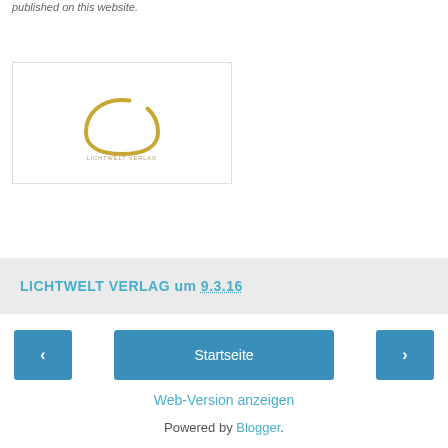published on this website.
[Figure (logo): Circular golden logo mark with small text beneath, inside a bordered white rectangle]
LICHTWELT VERLAG um 9.3.16
‹
Startseite
›
Web-Version anzeigen
Powered by Blogger.